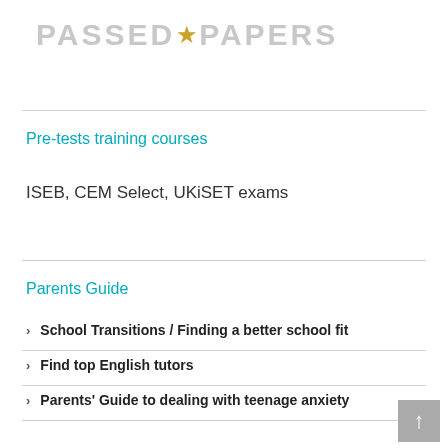PASSED★PAPERS
Pre-tests training courses
ISEB, CEM Select, UKiSET exams
Parents Guide
School Transitions / Finding a better school fit
Find top English tutors
Parents' Guide to dealing with teenage anxiety